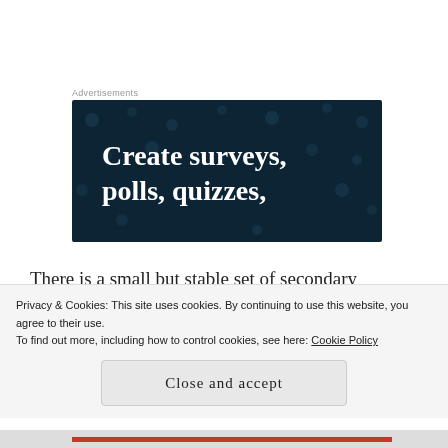Advertisements
[Figure (screenshot): Dark navy blue advertisement banner with white bold serif text reading 'Create surveys, polls, quizzes,' and decorative dot pattern background]
There is a small but stable set of secondary characters lending both uplifting support and grating antagonism. Louisa's path runs into Leo, an owner to a Cinnamon plantation where Elliot spent much of
Privacy & Cookies: This site uses cookies. By continuing to use this website, you agree to their use.
To find out more, including how to control cookies, see here: Cookie Policy
Close and accept